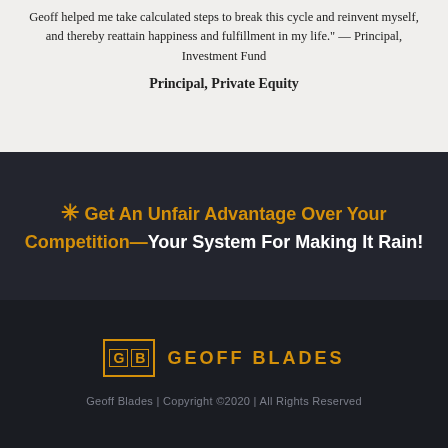Geoff helped me take calculated steps to break this cycle and reinvent myself, and thereby reattain happiness and fulfillment in my life." — Principal, Investment Fund
Principal, Private Equity
✳ Get An Unfair Advantage Over Your Competition—Your System For Making It Rain!
[Figure (logo): Geoff Blades logo: two letter boxes 'G' and 'B' in gold outline beside the text GEOFF BLADES in gold capital letters]
Geoff Blades  | Copyright ©2020 | All Rights Reserved